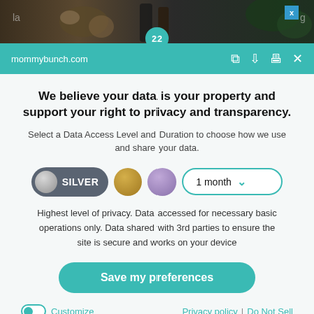[Figure (screenshot): Top banner showing a food/cooking image with dark background, garlic and bottles visible, with a teal circular badge showing '22' and a blue 'x' badge in the top right]
mommybunch.com
We believe your data is your property and support your right to privacy and transparency.
Select a Data Access Level and Duration to choose how we use and share your data.
[Figure (infographic): Silver pill toggle button labeled SILVER, gold circle, purple circle, and a dropdown selector showing '1 month' with teal chevron]
Highest level of privacy. Data accessed for necessary basic operations only. Data shared with 3rd parties to ensure the site is secure and works on your device
Save my preferences
Customize   Privacy policy  |  Do Not Sell